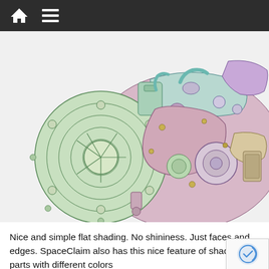Navigation bar with home and menu icons
[Figure (engineering-diagram): 3D CAD rendering of a complex engine assembly shown with flat shading and colored parts — different components shaded in pastel colors including pink/mauve, light green, light blue, tan, and purple. Shows transmission bell housing, pulleys, engine block, intake manifold, and various mechanical components.]
Nice and simple flat shading. No shininess. Just faces and edges. SpaceClaim also has this nice feature of shading parts with different colors